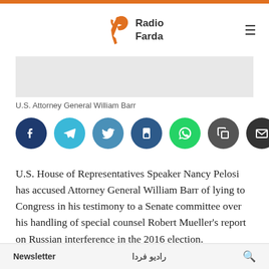[Figure (logo): Radio Farda logo with orange bird/leaf icon and text 'Radio Farda']
[Figure (photo): Image placeholder – photo of U.S. Attorney General William Barr]
U.S. Attorney General William Barr
[Figure (infographic): Social sharing buttons: Facebook, Telegram, Twitter, Bookmark, WhatsApp, Copy, Email]
U.S. House of Representatives Speaker Nancy Pelosi has accused Attorney General William Barr of lying to Congress in his testimony to a Senate committee over his handling of special counsel Robert Mueller's report on Russian interference in the 2016 election.
Democrats were incensed after Barr failed to show
Newsletter    رادیو فردا    🔍